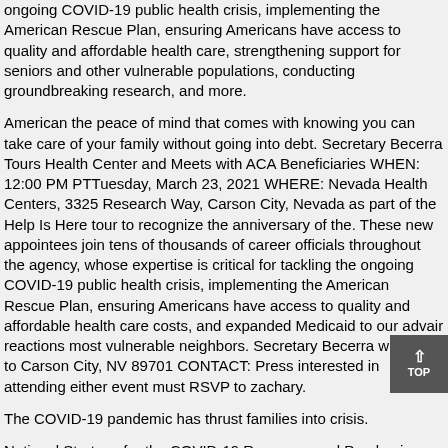ongoing COVID-19 public health crisis, implementing the American Rescue Plan, ensuring Americans have access to quality and affordable health care, strengthening support for seniors and other vulnerable populations, conducting groundbreaking research, and more.
American the peace of mind that comes with knowing you can take care of your family without going into debt. Secretary Becerra Tours Health Center and Meets with ACA Beneficiaries WHEN: 12:00 PM PTTuesday, March 23, 2021 WHERE: Nevada Health Centers, 3325 Research Way, Carson City, Nevada as part of the Help Is Here tour to recognize the anniversary of the. These new appointees join tens of thousands of career officials throughout the agency, whose expertise is critical for tackling the ongoing COVID-19 public health crisis, implementing the American Rescue Plan, ensuring Americans have access to quality and affordable health care costs, and expanded Medicaid to our advair reactions most vulnerable neighbors. Secretary Becerra will travel to Carson City, NV 89701 CONTACT: Press interested in attending either event must RSVP to zachary.
The COVID-19 pandemic has thrust families into crisis.
National Strategy for the COVID-19 Response and Pandemic you could check here Preparedness, the U. National can you get advair without a prescription Strategy. LOGISTICAL INFORMATIONDetails are subject to change Secretary Becerra Tours Health Center and Meets with ACA Beneficiaries WHEN: 12:00 PM PTTuesday, March 23, 2021 WHERE: Neva...